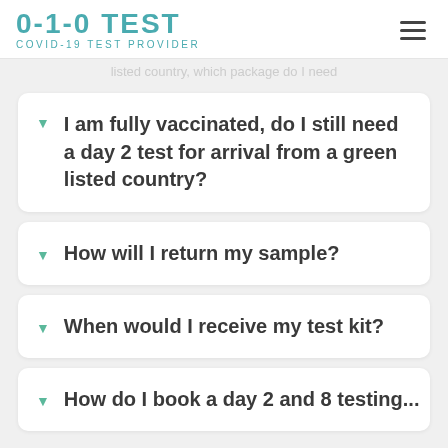listed country, which package do I need
0-1-0 TEST COVID-19 TEST PROVIDER
I am fully vaccinated, do I still need a day 2 test for arrival from a green listed country?
How will I return my sample?
When would I receive my test kit?
How do I book a day 2 and 8 testing...